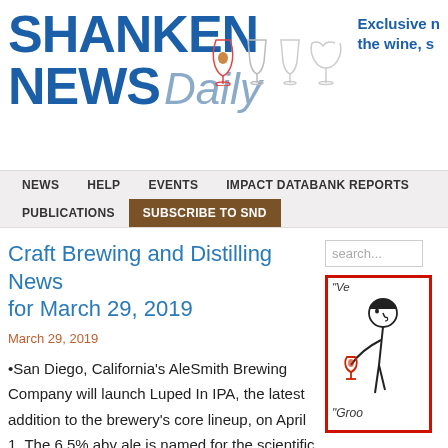SHANKEN NEWS Daily — Exclusive news for the wine, spirits and beer industry
Craft Brewing and Distilling News for March 29, 2019
March 29, 2019
•San Diego, California's AleSmith Brewing Company will launch Luped In IPA, the latest addition to the brewery's core lineup, on April 1. The 6.5% abv ale is named for the scientific name for hops, humulus lupulus, and features